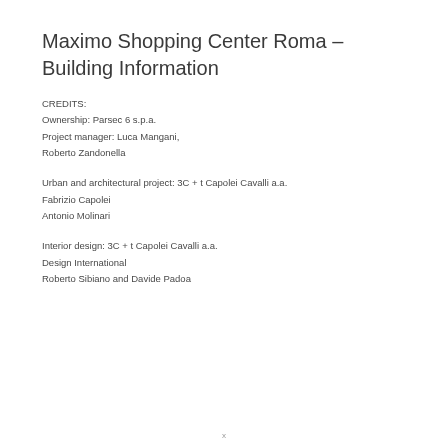Maximo Shopping Center Roma – Building Information
CREDITS:
Ownership: Parsec 6 s.p.a.
Project manager: Luca Mangani,
Roberto Zandonella
Urban and architectural project: 3C + t Capolei Cavalli a.a.
Fabrizio Capolei
Antonio Molinari
Interior design: 3C + t Capolei Cavalli a.a.
Design International
Roberto Sibiano and Davide Padoa
x